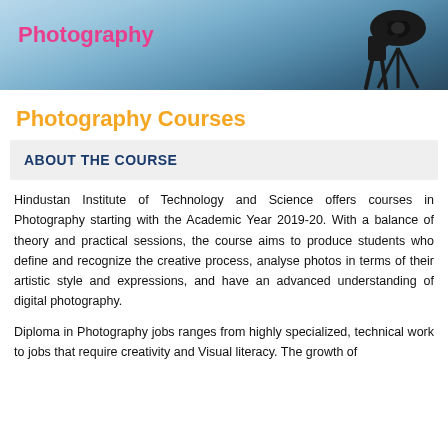[Figure (photo): Hero banner showing a silhouette of a photographer with a camera on a tripod against a sky background, with the word 'Photography' in pink text overlay]
Photography Courses
ABOUT THE COURSE
Hindustan Institute of Technology and Science offers courses in Photography starting with the Academic Year 2019-20. With a balance of theory and practical sessions, the course aims to produce students who define and recognize the creative process, analyse photos in terms of their artistic style and expressions, and have an advanced understanding of digital photography.
Diploma in Photography jobs ranges from highly specialized, technical work to jobs that require creativity and Visual literacy. The growth of